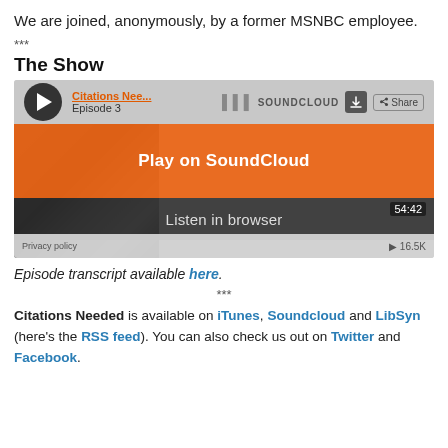We are joined, anonymously, by a former MSNBC employee.
***
The Show
[Figure (screenshot): SoundCloud embedded audio player for 'Citations Needed Episode 3' with orange 'Play on SoundCloud' overlay button and 'Listen in browser' bar. Shows 54:42 duration and 16.5K plays.]
Episode transcript available here.
***
Citations Needed is available on iTunes, Soundcloud and LibSyn (here's the RSS feed). You can also check us out on Twitter and Facebook.